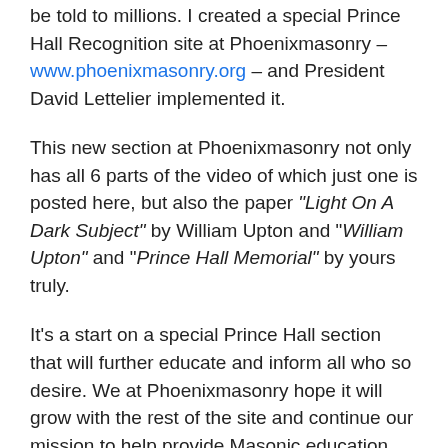be told to millions. I created a special Prince Hall Recognition site at Phoenixmasonry – www.phoenixmasonry.org – and President David Lettelier implemented it.
This new section at Phoenixmasonry not only has all 6 parts of the video of which just one is posted here, but also the paper "Light On A Dark Subject" by William Upton and "William Upton" and "Prince Hall Memorial" by yours truly.
It's a start on a special Prince Hall section that will further educate and inform all who so desire. We at Phoenixmasonry hope it will grow with the rest of the site and continue our mission to help provide Masonic education material free of charge.
Phoenixmasonry is a member of the Masonic Library